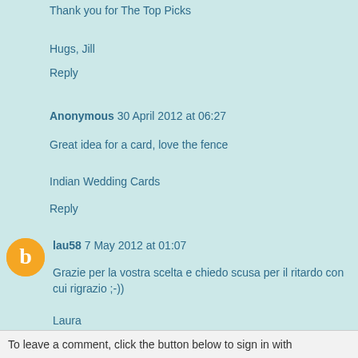Thank you for The Top Picks
Hugs, Jill
Reply
Anonymous 30 April 2012 at 06:27
Great idea for a card, love the fence
Indian Wedding Cards
Reply
lau58 7 May 2012 at 01:07
Grazie per la vostra scelta e chiedo scusa per il ritardo con cui rigrazio ;-))
Laura
Reply
To leave a comment, click the button below to sign in with